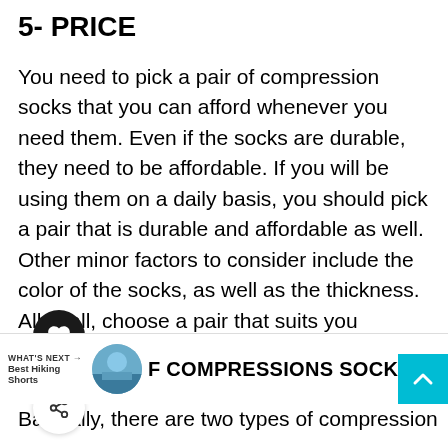5- PRICE
You need to pick a pair of compression socks that you can afford whenever you need them. Even if the socks are durable, they need to be affordable. If you will be using them on a daily basis, you should pick a pair that is durable and affordable as well. Other minor factors to consider include the color of the socks, as well as the thickness. All in all, choose a pair that suits you accordingly.
[Figure (infographic): Social sharing widget overlay with heart/like icon (dark circle, white heart), count of 2, and share icon below]
WHAT'S NEXT → Best Hiking Shorts | [circular hiking image] F COMPRESSIONS SOCKS
[Figure (infographic): Teal scroll-to-top button with white upward chevron arrow, positioned bottom right]
Basically, there are two types of compression